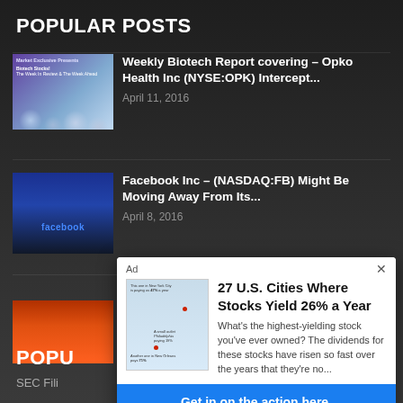POPULAR POSTS
[Figure (photo): Biotech report thumbnail with colorful circular cell images and text overlay]
Weekly Biotech Report covering – Opko Health Inc (NYSE:OPK) Intercept...
April 11, 2016
[Figure (photo): Facebook silhouette image with blue tones and 'facebook' text]
Facebook Inc – (NASDAQ:FB) Might Be Moving Away From Its...
April 8, 2016
[Figure (photo): Biotechnology movers thumbnail with orange bottle caps]
Biotechnology Movers: Here's Why Citius
POPU
SEC Fili
[Figure (infographic): Ad overlay: Map of US with cities marked. Ad for dividend stocks article.]
27 U.S. Cities Where Stocks Yield 26% a Year
What's the highest-yielding stock you've ever owned? The dividends for these stocks have risen so fast over the years that they're no...
Get in on the action here.